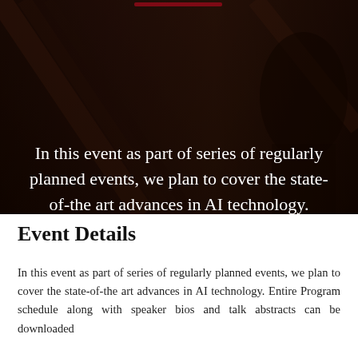[Figure (photo): Dark background image with a person, partially visible, overlaid with dark red/brown tones showing structural elements like beams or scaffolding]
In this event as part of series of regularly planned events, we plan to cover the state-of-the art advances in AI technology.
Event Details
In this event as part of series of regularly planned events, we plan to cover the state-of-the art advances in AI technology. Entire Program schedule along with speaker bios and talk abstracts can be downloaded